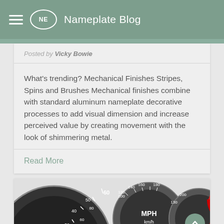NE  Nameplate Blog
Posted by Vicky Bowie
What's trending? Mechanical Finishes Stripes, Spins and Brushes Mechanical finishes combine with standard aluminum nameplate decorative processes to add visual dimension and increase perceived value by creating movement with the look of shimmering metal.
Read More
[Figure (photo): Speedometer gauge showing MPH and km/h markings, with numbers 30-60 on left dial and 40-200 on right, redline zone visible on right gauge]